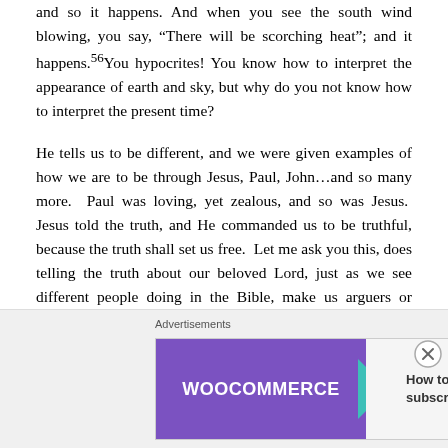and so it happens. And when you see the south wind blowing, you say, “There will be scorching heat”; and it happens.56You hypocrites! You know how to interpret the appearance of earth and sky, but why do you not know how to interpret the present time?
He tells us to be different, and we were given examples of how we are to be through Jesus, Paul, John…and so many more. Paul was loving, yet zealous, and so was Jesus. Jesus told the truth, and He commanded us to be truthful, because the truth shall set us free. Let me ask you this, does telling the truth about our beloved Lord, just as we see different people doing in the Bible, make us arguers or judgers? I don’t think so. If we do it the way
Advertisements
[Figure (other): WooCommerce advertisement banner. Purple background on left with WooCommerce logo and a teal arrow shape. Right side on light background reads 'How to start selling subscriptions online' with orange and teal decorative shapes. Close button (X in circle) on top right.]